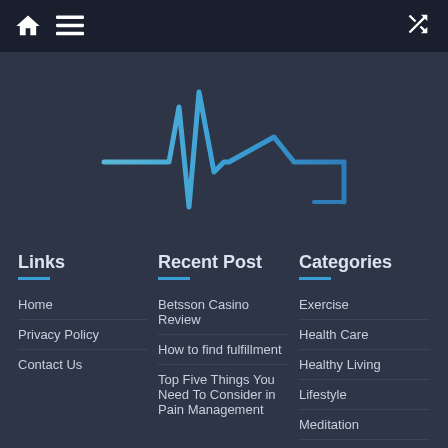Home | Menu | Shuffle
[Figure (logo): Health/medical website logo with EKG heartbeat waveform in blue/teal gradient on dark background]
Links
Home
Privacy Policy
Contact Us
Recent Post
Betsson Casino Review
How to find fulfillment
Top Five Things You Need To Consider in Pain Management
Categories
Exercise
Health Care
Healthy Living
Lifestyle
Meditation
Men's Health Care
Tips and IDEAS